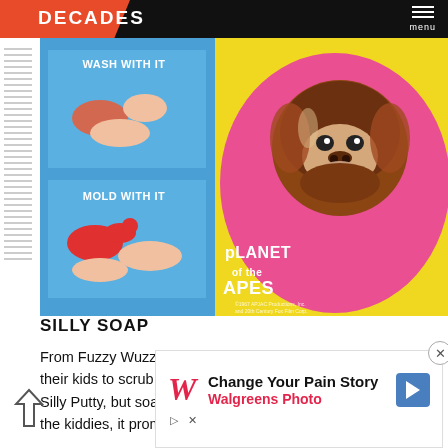DECADES  menu
[Figure (photo): Planet of the Apes Silly Soap product packaging on yellow background, showing a pink oval soap with an ape face illustration and text reading PLANET of APES, alongside a blue instruction panel showing WASH WITH IT and MOLD WITH IT steps with hand illustrations.]
SILLY SOAP
From Fuzzy Wuzzy to this putty, parents did anything to get their kids to scrub up. This "world's only soft soap" was like Silly Putty, but soap. And, to make it even more enticing for the kiddies, it promoted Planet of the Apes.
[Figure (advertisement): Walgreens Photo advertisement reading: Change Your Pain Story / Walgreens Photo, with Walgreens script W logo and blue navigation arrow icon.]